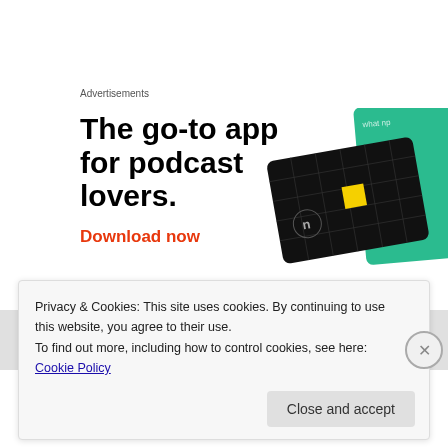Advertisements
[Figure (illustration): Advertisement for a podcast app showing bold headline 'The go-to app for podcast lovers.' with a red 'Download now' CTA link, and images of a black grid card with yellow square and a green card with 'On' cursive text.]
Privacy & Cookies: This site uses cookies. By continuing to use this website, you agree to their use.
To find out more, including how to control cookies, see here: Cookie Policy